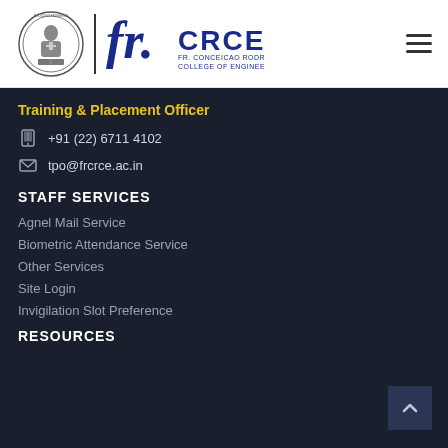[Figure (logo): Fr. CRCE (Fr. Conceicao Rodrigues College of Engineering) logo with emblem and stylized text]
Training & Placement Officer
+91 (22) 6711 4102
tpo@frcrce.ac.in
STAFF SERVICES
Agnel Mail Service
Biometric Attendance Service
Other Services
Site Login
Invigilation Slot Preference
RESOURCES